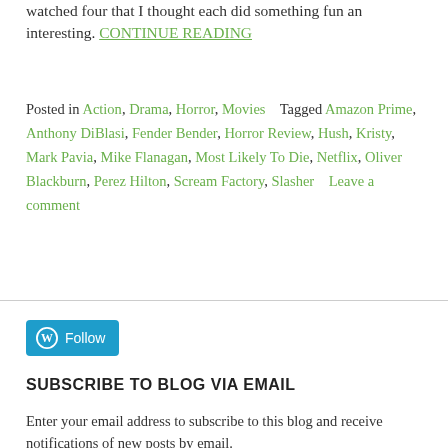watched four that I thought each did something fun an interesting. CONTINUE READING
Posted in Action, Drama, Horror, Movies   Tagged Amazon Prime, Anthony DiBlasi, Fender Bender, Horror Review, Hush, Kristy, Mark Pavia, Mike Flanagan, Most Likely To Die, Netflix, Oliver Blackburn, Perez Hilton, Scream Factory, Slasher   Leave a comment
[Figure (other): WordPress Follow button in blue with W logo]
SUBSCRIBE TO BLOG VIA EMAIL
Enter your email address to subscribe to this blog and receive notifications of new posts by email.